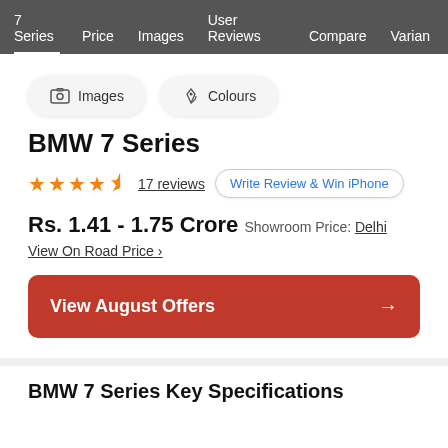7 Series | Price | Images | User Reviews | Compare | Varian
[Figure (other): Two pill-shaped buttons: Images (with photo icon) and Colours (with paint icon)]
BMW 7 Series
★★★★☆ 17 reviews  Write Review & Win iPhone
Rs. 1.41 - 1.75 Crore  Showroom Price: Delhi
View On Road Price >
View August Offers →
BMW 7 Series Key Specifications